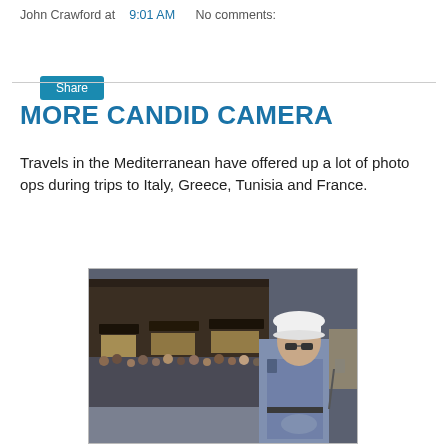John Crawford at 9:01 AM   No comments:
Share
MORE CANDID CAMERA
Travels in the Mediterranean have offered up a lot of photo ops during trips to Italy, Greece, Tunisia and France.
[Figure (photo): A street scene with a crowd of tourists and a police officer in a white helmet and blue uniform in the foreground, likely in Florence near Ponte Vecchio.]